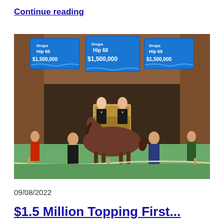Continue reading
[Figure (photo): Horse auction at a sales ring. Three blue digital screens show 'Hip 68' and '$1,500,000'. Two auctioneers stand at a wooden podium. A bay horse is led by a handler in a suit. Other staff visible around the ring.]
09/08/2022
$1.5 Million Topping First...